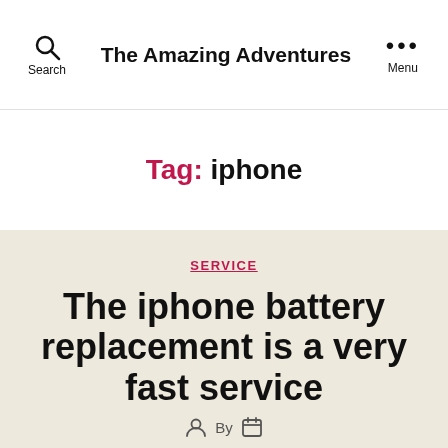Search   The Amazing Adventures   Menu
Tag: iphone
SERVICE
The iphone battery replacement is a very fast service
By